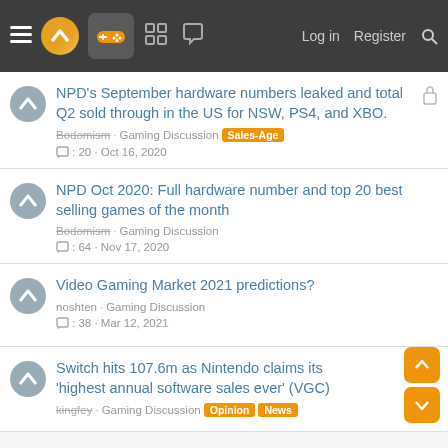Navigation bar with logo, controller icon, board icon, chat icon, Log in, Register, Search
NPD's September hardware numbers leaked and total Q2 sold through in the US for NSW, PS4, and XBO. | Bodomism · Gaming Discussion | Sales-Age | 20 replies · Oct 16, 2020
NPD Oct 2020: Full hardware number and top 20 best selling games of the month | Bodomism · Gaming Discussion | 64 replies · Nov 17, 2020
Video Gaming Market 2021 predictions? | noshten · Gaming Discussion | 38 replies · Mar 12, 2021
Switch hits 107.6m as Nintendo claims its 'highest annual software sales ever' (VGC) | kingfey · Gaming Discussion | Opinion | News